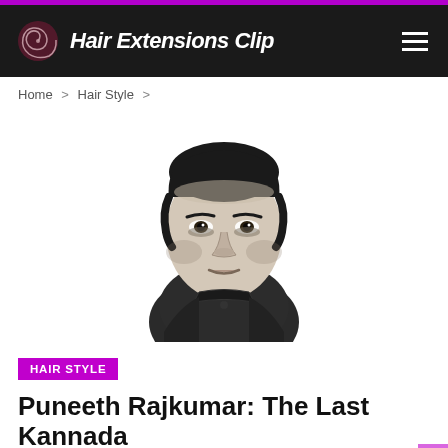Hair Extensions Clip
Home > Hair Style >
[Figure (illustration): Black and white pencil/ink style portrait illustration of a man (Puneeth Rajkumar) wearing a dark shirt, looking directly at viewer, with dark hair.]
HAIR STYLE
Puneeth Rajkumar: The Last Kannada Icon?